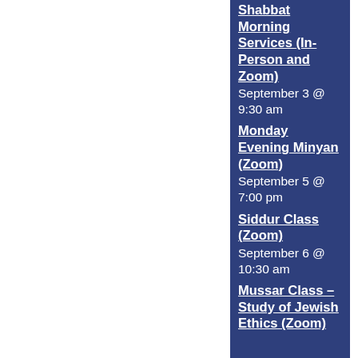Shabbat Morning Services (In-Person and Zoom) September 3 @ 9:30 am
Monday Evening Minyan (Zoom) September 5 @ 7:00 pm
Siddur Class (Zoom) September 6 @ 10:30 am
Mussar Class – Study of Jewish Ethics (Zoom)